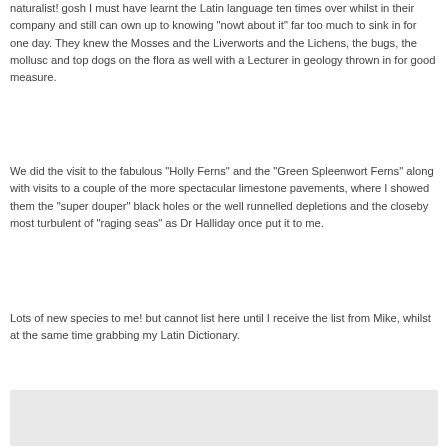naturalist!  gosh I must have learnt the Latin language ten times over whilst in their company and still can own up to knowing "nowt about it"  far too much to sink in for one day.  They knew the Mosses and the Liverworts and the Lichens, the bugs, the mollusc and top dogs on the flora as well with a Lecturer in geology thrown in for good measure.
We did the visit to the fabulous "Holly Ferns" and the "Green Spleenwort Ferns" along with visits to a couple of the more spectacular limestone pavements, where I showed them the "super douper" black holes or the well runnelled depletions and the closeby most turbulent of "raging seas" as Dr Halliday once put it to me.
Lots of new species to me! but cannot list here until I receive the list from Mike, whilst at the same time grabbing my Latin Dictionary.
[Figure (other): Light gray rectangular box at the bottom of the page]